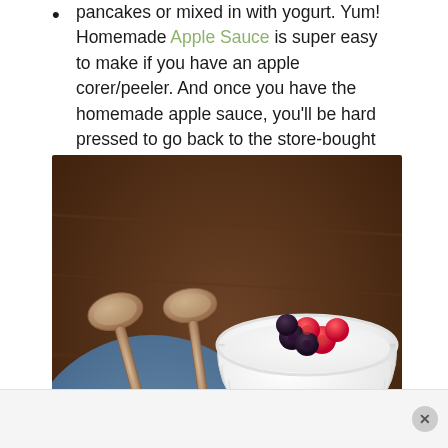pancakes or mixed in with yogurt. Yum! Homemade Apple Sauce is super easy to make if you have an apple corer/peeler. And once you have the homemade apple sauce, you'll be hard pressed to go back to the store-bought variety. Ever.
[Figure (photo): Two white ramekins filled with yogurt topped with fresh raspberries and blackberries, placed on a blue cloth with two wooden spoons beside them on a dark wooden surface.]